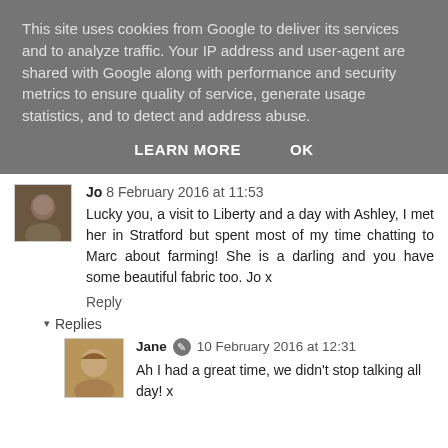This site uses cookies from Google to deliver its services and to analyze traffic. Your IP address and user-agent are shared with Google along with performance and security metrics to ensure quality of service, generate usage statistics, and to detect and address abuse.
LEARN MORE   OK
Jo  8 February 2016 at 11:53
Lucky you, a visit to Liberty and a day with Ashley, I met her in Stratford but spent most of my time chatting to Marc about farming! She is a darling and you have some beautiful fabric too. Jo x
Reply
▾  Replies
Jane  10 February 2016 at 12:31
Ah I had a great time, we didn't stop talking all day! x